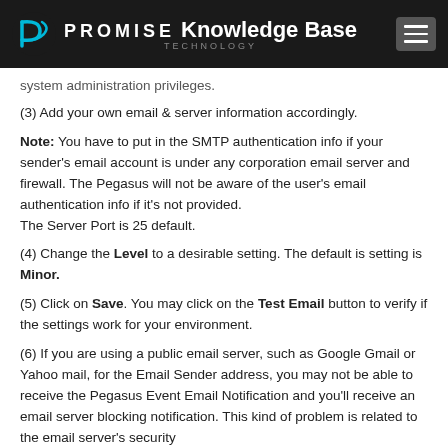PROMISE Technology Knowledge Base
system administration privileges.
(3) Add your own email & server information accordingly.
Note: You have to put in the SMTP authentication info if your sender's email account is under any corporation email server and firewall. The Pegasus will not be aware of the user's email authentication info if it's not provided. The Server Port is 25 default.
(4) Change the Level to a desirable setting. The default is setting is Minor.
(5) Click on Save. You may click on the Test Email button to verify if the settings work for your environment.
(6) If you are using a public email server, such as Google Gmail or Yahoo mail, for the Email Sender address, you may not be able to receive the Pegasus Event Email Notification and you'll receive an email server blocking notification. This kind of problem is related to the email server's security...